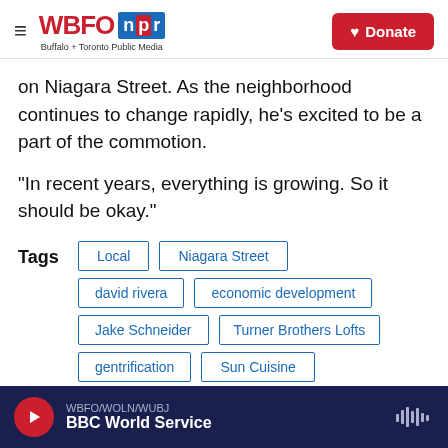WBFO npr | Buffalo + Toronto Public Media | Donate
on Niagara Street. As the neighborhood continues to change rapidly, he's excited to be a part of the commotion.
“In recent years, everything is growing. So it should be okay.”
Tags: Local | Niagara Street | david rivera | economic development | Jake Schneider | Turner Brothers Lofts | gentrification | Sun Cuisine
WBFO/WOLN/WUBJ | BBC World Service